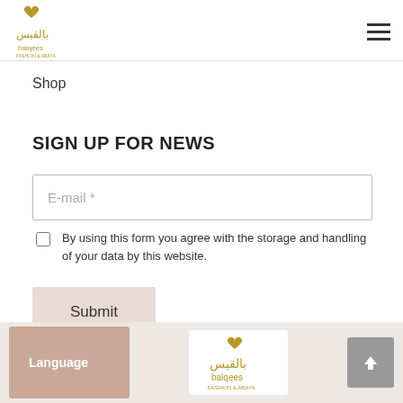balqees (logo) — hamburger menu
Shop
SIGN UP FOR NEWS
E-mail *
By using this form you agree with the storage and handling of your data by this website.
Submit
Language | balqees logo | scroll-to-top arrow